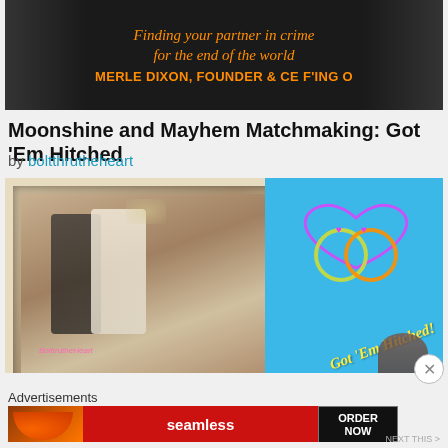[Figure (illustration): Dark banner image showing two people on the sides with orange text: 'Finding your partner in crime for the end of the world' and 'MERLE DIXON, FOUNDER & CE F'ING O']
Moonshine and Mayhem Matchmaking: Got 'Em Hitched
by boltthrutheheart
[Figure (illustration): Fan fiction cover art showing a wedding scene inside an ornate white frame on a cyan/blue background, with interlocking rings drawn in pink and gold, and text 'Got 'Em Hitched!' in yellow italic. Author name 'BolttrutheHeart' visible in pink.]
Advertisements
[Figure (screenshot): Seamless food delivery advertisement banner. Shows pizza slice on left, red Seamless logo in center, and ORDER NOW button on right on dark background.]